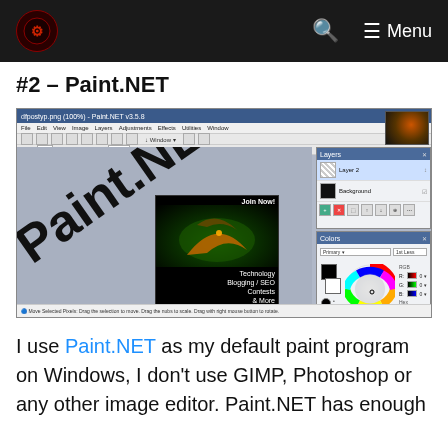Menu
#2 – Paint.NET
[Figure (screenshot): Screenshot of Paint.NET image editor showing canvas with 'Paint.NET' watermark text, a dragon advertisement banner, layers panel, and color wheel panel]
I use Paint.NET as my default paint program on Windows, I don't use GIMP, Photoshop or any other image editor. Paint.NET has enough